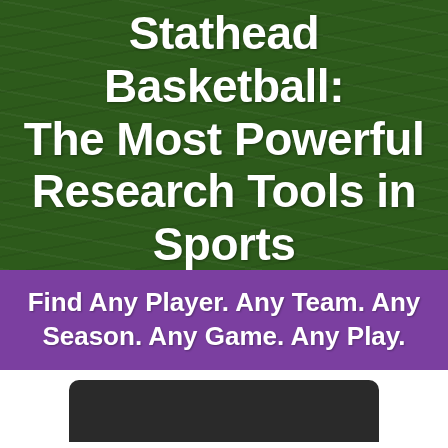Stathead Basketball: The Most Powerful Research Tools in Sports
Find Any Player. Any Team. Any Season. Any Game. Any Play.
[Figure (screenshot): Dark device/screen mockup showing a partially visible interface, black rounded rectangle against white background]